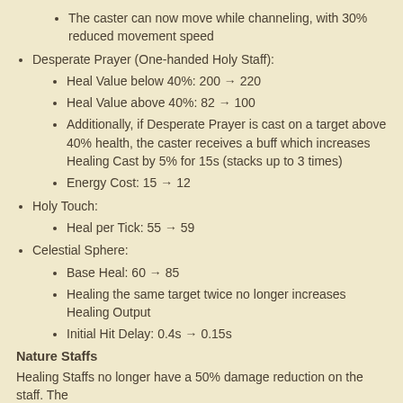The caster can now move while channeling, with 30% reduced movement speed
Desperate Prayer (One-handed Holy Staff):
Heal Value below 40%: 200 → 220
Heal Value above 40%: 82 → 100
Additionally, if Desperate Prayer is cast on a target above 40% health, the caster receives a buff which increases Healing Cast by 5% for 15s (stacks up to 3 times)
Energy Cost: 15 → 12
Holy Touch:
Heal per Tick: 55 → 59
Celestial Sphere:
Base Heal: 60 → 85
Healing the same target twice no longer increases Healing Output
Initial Hit Delay: 0.4s → 0.15s
Nature Staffs
Healing Staffs no longer have a 50% damage reduction on the staff. The